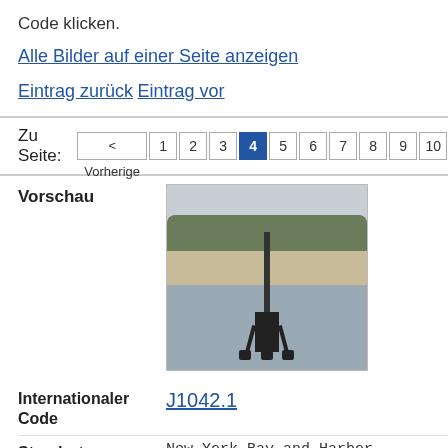Code klicken.
Alle Bilder auf einer Seite anzeigen
Eintrag zurück  Eintrag vor
Zu Seite: < Vorherige  1  2  3  4  5  6  7  8  9  10  Nächste >
| Vorschau |  |
| --- | --- |
| Vorschau | [image of navigation tower on water] |
| Internationaler Code | J1042.1 |
| --- | --- |
| Standort | New York Bay and Harbor |